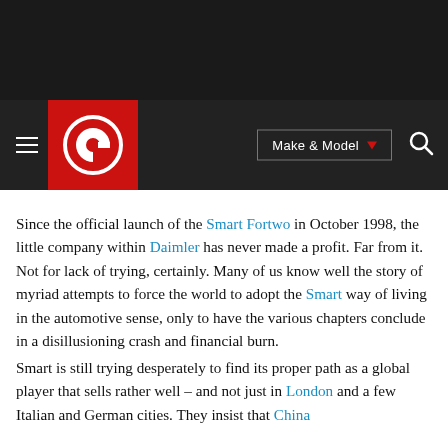[Figure (screenshot): Website navigation bar with dark background, red logo with circular G icon, Make & Model dropdown button, and search icon]
Since the official launch of the Smart Fortwo in October 1998, the little company within Daimler has never made a profit. Far from it. Not for lack of trying, certainly. Many of us know well the story of myriad attempts to force the world to adopt the Smart way of living in the automotive sense, only to have the various chapters conclude in a disillusioning crash and financial burn.
Smart is still trying desperately to find its proper path as a global player that sells rather well – and not just in London and a few Italian and German cities. They insist that China